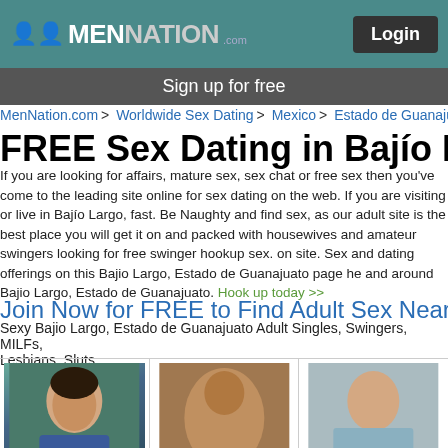MenNation.com — Login
Sign up for free
MenNation.com > Worldwide Sex Dating > Mexico > Estado de Guanajuato > Ba…
FREE Sex Dating in Bajío Largo
If you are looking for affairs, mature sex, sex chat or free sex then you've come to the leading site online for sex dating on the web. If you are visiting or live in Bajío Largo, fast. Be Naughty and find sex, as our adult site is the best place you will get it on and packed with housewives and amateur swingers looking for free swinger hookup sex. on site. Sex and dating offerings on this Bajio Largo, Estado de Guanajuato page he and around Bajio Largo, Estado de Guanajuato. Hook up today >>
Join Now for FREE to Find Adult Sex Near Ba…
Sexy Bajio Largo, Estado de Guanajuato Adult Singles, Swingers, MILFs, Lesbians, Sluts
[Figure (photo): Profile photo of snoppen76, male user, portrait headshot in blue shirt]
snoppen76
[Figure (photo): Profile photo of XF1NATICX, adult content image]
XF1NATICX
[Figure (photo): Profile photo of liyingtoyboy, shirtless male torso with blue towel]
liyingtoyboy